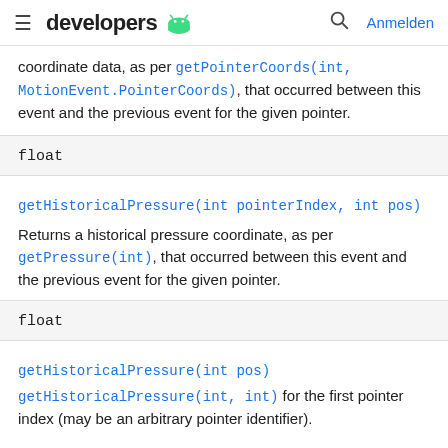≡ developers 🤖  🔍 Anmelden
coordinate data, as per getPointerCoords(int, MotionEvent.PointerCoords), that occurred between this event and the previous event for the given pointer.
| float |
| --- |
getHistoricalPressure(int pointerIndex, int pos)
Returns a historical pressure coordinate, as per getPressure(int), that occurred between this event and the previous event for the given pointer.
| float |
| --- |
getHistoricalPressure(int pos)
getHistoricalPressure(int, int) for the first pointer index (may be an arbitrary pointer identifier).